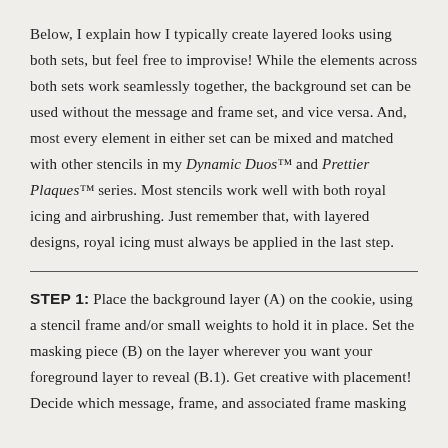Below, I explain how I typically create layered looks using both sets, but feel free to improvise! While the elements across both sets work seamlessly together, the background set can be used without the message and frame set, and vice versa. And, most every element in either set can be mixed and matched with other stencils in my Dynamic Duos™ and Prettier Plaques™ series. Most stencils work well with both royal icing and airbrushing. Just remember that, with layered designs, royal icing must always be applied in the last step.
STEP 1: Place the background layer (A) on the cookie, using a stencil frame and/or small weights to hold it in place. Set the masking piece (B) on the layer wherever you want your foreground layer to reveal (B.1). Get creative with placement! Decide which message, frame, and associated frame masking